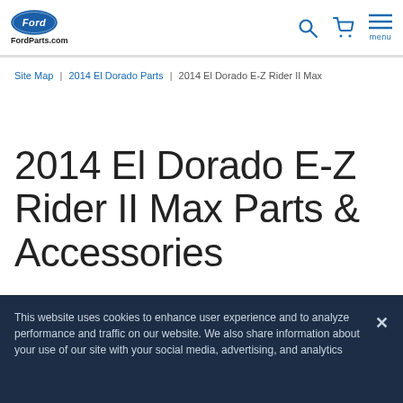FordParts.com
Site Map | 2014 El Dorado Parts | 2014 El Dorado E-Z Rider II Max
2014 El Dorado E-Z Rider II Max Parts & Accessories
This website uses cookies to enhance user experience and to analyze performance and traffic on our website. We also share information about your use of our site with your social media, advertising, and analytics